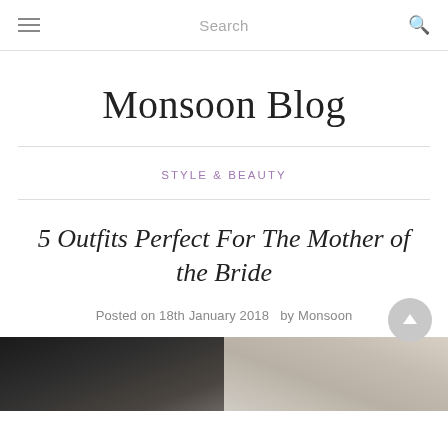≡  Search  🔍
Monsoon Blog
STYLE & BEAUTY
5 Outfits Perfect For The Mother of the Bride
Posted on 18th January 2018   by Monsoon
[Figure (photo): Two fashion photos side by side, partially visible at the bottom of the page — left shows a dark-clothed figure, right shows a light-clothed figure.]